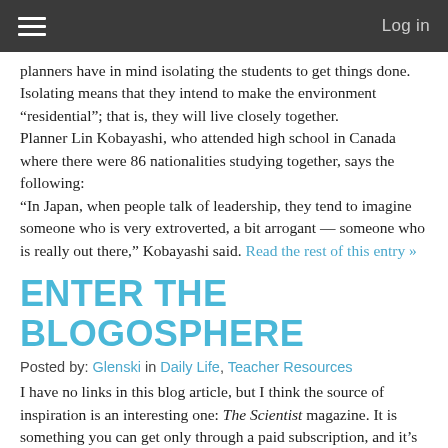Log in
planners have in mind isolating the students to get things done. Isolating means that they intend to make the environment “residential”; that is, they will live closely together.
Planner Lin Kobayashi, who attended high school in Canada where there were 86 nationalities studying together, says the following:
“In Japan, when people talk of leadership, they tend to imagine someone who is very extroverted, a bit arrogant — someone who is really out there,” Kobayashi said. Read the rest of this entry »
ENTER THE BLOGOSPHERE
Posted by: Glenski in Daily Life, Teacher Resources
I have no links in this blog article, but I think the source of inspiration is an interesting one: The Scientist magazine. It is something you can get only through a paid subscription, and it’s rather pricey. What I found interesting was an article in the October 2010 issue, “Aren’t you blogging yet?!?”, in the Careers section.